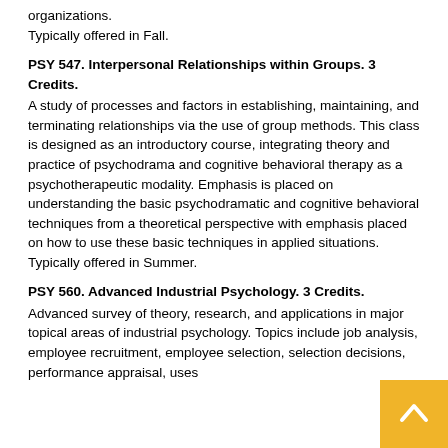organizations.
Typically offered in Fall.
PSY 547. Interpersonal Relationships within Groups. 3 Credits.
A study of processes and factors in establishing, maintaining, and terminating relationships via the use of group methods. This class is designed as an introductory course, integrating theory and practice of psychodrama and cognitive behavioral therapy as a psychotherapeutic modality. Emphasis is placed on understanding the basic psychodramatic and cognitive behavioral techniques from a theoretical perspective with emphasis placed on how to use these basic techniques in applied situations.
Typically offered in Summer.
PSY 560. Advanced Industrial Psychology. 3 Credits.
Advanced survey of theory, research, and applications in major topical areas of industrial psychology. Topics include job analysis, employee recruitment, employee selection, selection decisions, performance appraisal, uses